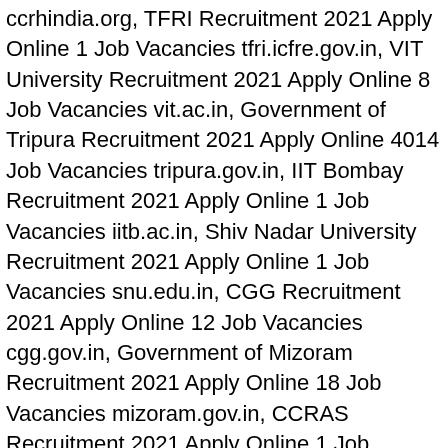ccrhindia.org, TFRI Recruitment 2021 Apply Online 1 Job Vacancies tfri.icfre.gov.in, VIT University Recruitment 2021 Apply Online 8 Job Vacancies vit.ac.in, Government of Tripura Recruitment 2021 Apply Online 4014 Job Vacancies tripura.gov.in, IIT Bombay Recruitment 2021 Apply Online 1 Job Vacancies iitb.ac.in, Shiv Nadar University Recruitment 2021 Apply Online 1 Job Vacancies snu.edu.in, CGG Recruitment 2021 Apply Online 12 Job Vacancies cgg.gov.in, Government of Mizoram Recruitment 2021 Apply Online 18 Job Vacancies mizoram.gov.in, CCRAS Recruitment 2021 Apply Online 1 Job Vacancies ccras.nic.in, ECIL Recruitment 2021 Apply Online 50 Job Vacancies ecil.co.in, IIITM Kerala Recruitment 2021 Apply Online 7 Job Vacancies iiitmk.ac.in, BITS Pilani Recruitment 2021 Apply Online 9 Job Vacancies bits-pilani.ac.in, NEHU Recruitment 2021 Apply Online 4 Job Vacancies nehu.ac.in, Assam University Recruitment 2021 Apply Online 3 Job Vacancies aus.ac.in, UoH Recruitment 2021 Apply Online 14 Job Vacancies uohyd.ac.in, UIDAI Recruitment 2021 Apply Online 23 Job Vacancies uidai.gov.in